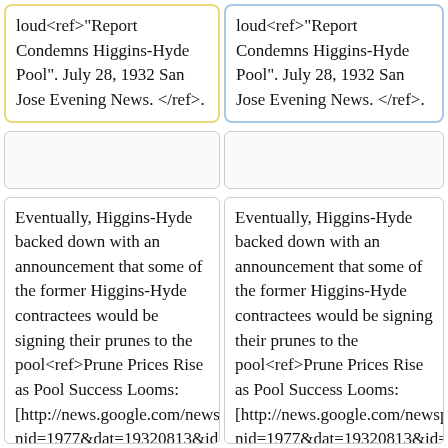loud<ref>"Report Condemns Higgins-Hyde Pool". July 28, 1932 San Jose Evening News. </ref>.
loud<ref>"Report Condemns Higgins-Hyde Pool". July 28, 1932 San Jose Evening News. </ref>.
Eventually, Higgins-Hyde backed down with an announcement that some of the former Higgins-Hyde contractees would be signing their prunes to the pool<ref>Prune Prices Rise as Pool Success Looms: [http://news.google.com/newspapers?nid=1977&dat=19320813&id=GhciAAAAIBAJ&sjid=LaQFAAAAIBAJ&pg=3340,3477482 August 13, 1932 San Jose News]
Eventually, Higgins-Hyde backed down with an announcement that some of the former Higgins-Hyde contractees would be signing their prunes to the pool<ref>Prune Prices Rise as Pool Success Looms: [http://news.google.com/newspapers?nid=1977&dat=19320813&id=GhciAAAAIBAJ&sjid=LaQFAAAAIBAJ&pg=3340,3477482 August 13, 1932 San Jose News]